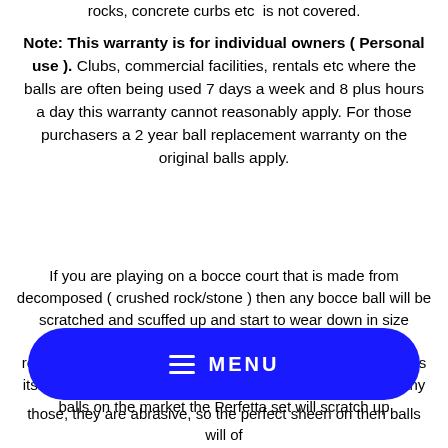rocks, concrete curbs etc  is not covered.
Note: This warranty is for individual owners ( Personal use ). Clubs, commercial facilities, rentals etc where the balls are often being used 7 days a week and 8 plus hours a day this warranty cannot reasonably apply. For those purchasers a 2 year ball replacement warranty on the original balls apply.
If you are playing on a bocce court that is made from decomposed ( crushed rock/stone ) then any bocce ball will be scratched and scuffed up and start to wear down in size immediately. It is a cheap surface to use but is not recommended by us or any other bocce ball manufacturer as its like playing on coarse sand paper. Having said that of any balls on the market the Perfetta set will scratch up
[Figure (screenshot): Blue pill-shaped menu button with hamburger icon and MENU text in white]
those, they are abrasive, so the perfect sheen on then balls will of